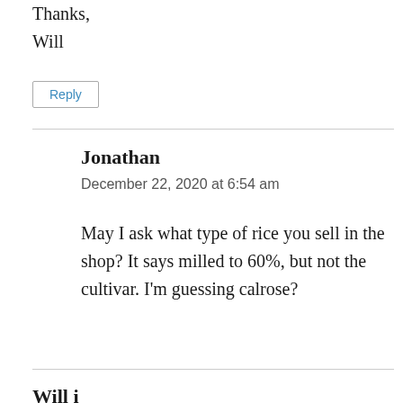Thanks,
Will
Reply
Jonathan
December 22, 2020 at 6:54 am
May I ask what type of rice you sell in the shop? It says milled to 60%, but not the cultivar. I'm guessing calrose?
Will i